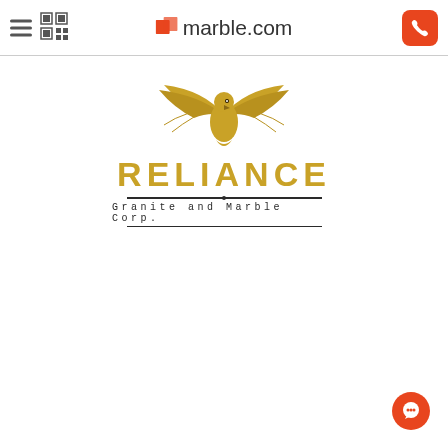marble.com
[Figure (logo): Reliance Granite and Marble Corp. logo featuring a golden eagle with spread wings above the bold gold text RELIANCE, with a decorative line and subtitle 'Granite and Marble Corp.']